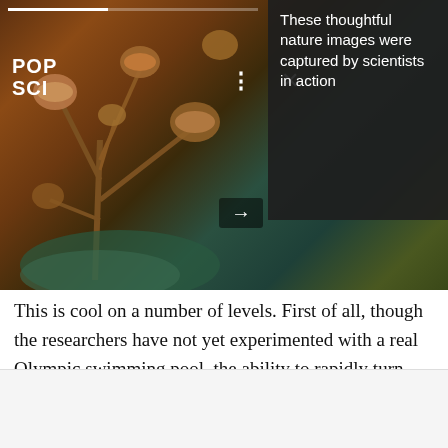[Figure (photo): Close-up macro photo of zombie fungus (Ophiocordyceps) growing from an insect, with mushroom-like stalks against a dark brown/teal background. Overlaid with a dark panel showing POP SCI logo and text about nature images captured by scientists.]
These thoughtful nature images were captured by scientists in action
This is cool on a number of levels. First of all, though the researchers have not yet experimented with a real Olympic swimming pool, the ability to rapidly turn large bodies of water into gelatin is sure to have major impacts in the disciplines of both cocktail party tricks and teenage petty vandalism. But from a materials